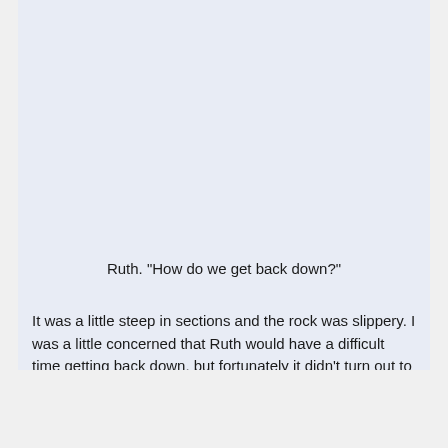Ruth. "How do we get back down?"
It was a little steep in sections and the rock was slippery. I was a little concerned that Ruth would have a difficult time getting back down, but fortunately it didn't turn out to be a big issue. Just have to take your time and plan where